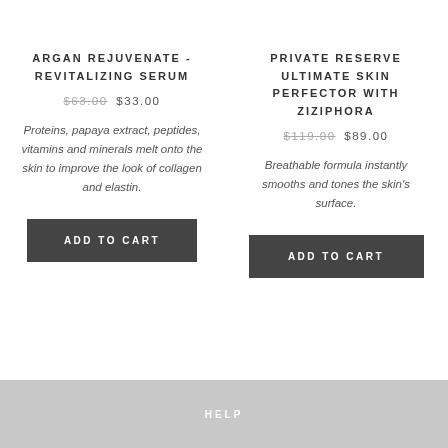ARGAN REJUVENATE - REVITALIZING SERUM
$63.00 $33.00
Proteins, papaya extract, peptides, vitamins and minerals melt onto the skin to improve the look of collagen and elastin.
ADD TO CART
PRIVATE RESERVE ULTIMATE SKIN PERFECTOR WITH ZIZIPHORA
$119.00 $89.00
Breathable formula instantly smooths and tones the skin's surface.
ADD TO CART
HELP